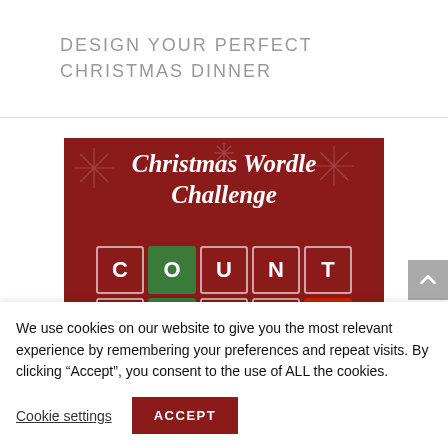DESIGN YOUR PERFECT CHRISTMAS DINNER
[Figure (illustration): Christmas Wordle Challenge game image on dark red background with snowflakes. Shows two rows of letter tiles: COUNT (with O in green) and SOREL (with O in green, L in red)]
We use cookies on our website to give you the most relevant experience by remembering your preferences and repeat visits. By clicking “Accept”, you consent to the use of ALL the cookies.
Cookie settings
ACCEPT